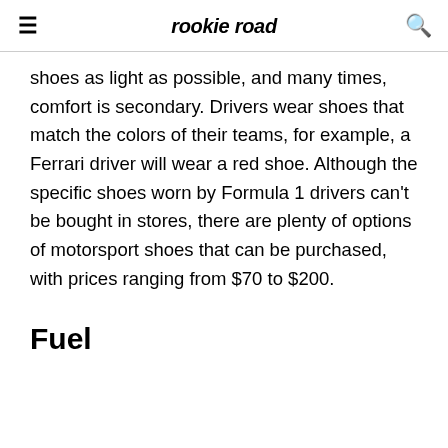rookie road
shoes as light as possible, and many times, comfort is secondary. Drivers wear shoes that match the colors of their teams, for example, a Ferrari driver will wear a red shoe. Although the specific shoes worn by Formula 1 drivers can't be bought in stores, there are plenty of options of motorsport shoes that can be purchased, with prices ranging from $70 to $200.
Fuel